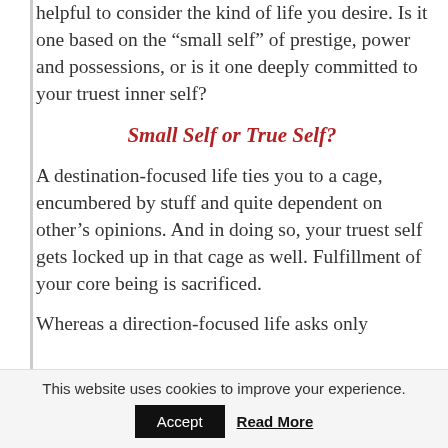helpful to consider the kind of life you desire. Is it one based on the “small self” of prestige, power and possessions, or is it one deeply committed to your truest inner self?
Small Self or True Self?
A destination-focused life ties you to a cage, encumbered by stuff and quite dependent on other’s opinions. And in doing so, your truest self gets locked up in that cage as well. Fulfillment of your core being is sacrificed.
Whereas a direction-focused life asks only
This website uses cookies to improve your experience. Accept  Read More